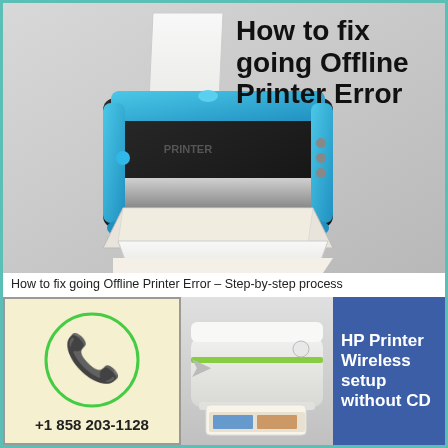[Figure (photo): 3D rendered blue and black inkjet printer with paper coming out, on gray background]
How to fix going Offline Printer Error
How to fix going Offline Printer Error – Step-by-step process
[Figure (infographic): Cream/yellow phone icon card showing green phone handset in circle and phone number +1 858 203-1128]
[Figure (photo): HP DeskJet white and green printer, compact flatbed printer]
HP Printer Wireless setup without CD